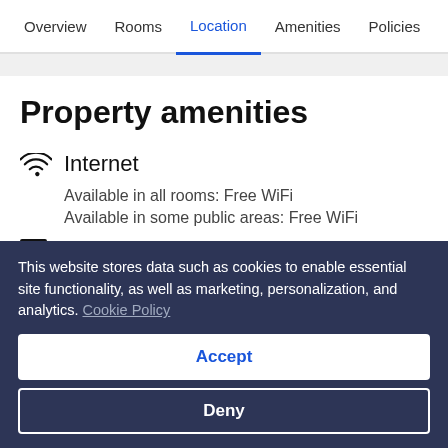Overview  Rooms  Location  Amenities  Policies  R
Property amenities
Internet
Available in all rooms: Free WiFi
Available in some public areas: Free WiFi
Parking and public transport
This website stores data such as cookies to enable essential site functionality, as well as marketing, personalization, and analytics. Cookie Policy
Accept
Deny